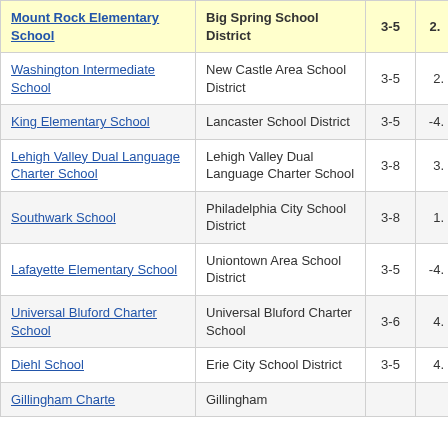| School | District | Grades | Value |
| --- | --- | --- | --- |
| Mount Rock Elementary School | Big Spring School District | 3-5 | 2. |
| Washington Intermediate School | New Castle Area School District | 3-5 | 2. |
| King Elementary School | Lancaster School District | 3-5 | -4. |
| Lehigh Valley Dual Language Charter School | Lehigh Valley Dual Language Charter School | 3-8 | 3. |
| Southwark School | Philadelphia City School District | 3-8 | 1. |
| Lafayette Elementary School | Uniontown Area School District | 3-5 | -4. |
| Universal Bluford Charter School | Universal Bluford Charter School | 3-6 | 4. |
| Diehl School | Erie City School District | 3-5 | 4. |
| Gillingham Charter... | Gillingham... |  |  |